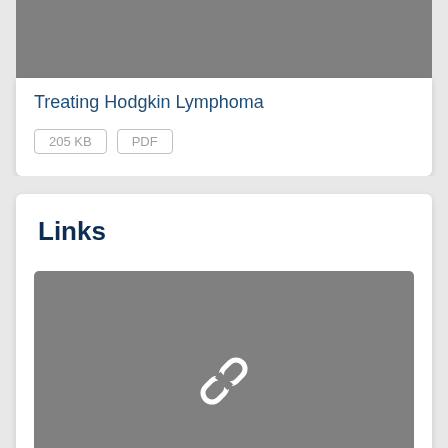[Figure (illustration): Gray placeholder image at top of document card]
Treating Hodgkin Lymphoma
205 KB   PDF
Links
[Figure (illustration): Gray placeholder image with a chain link icon in the center]